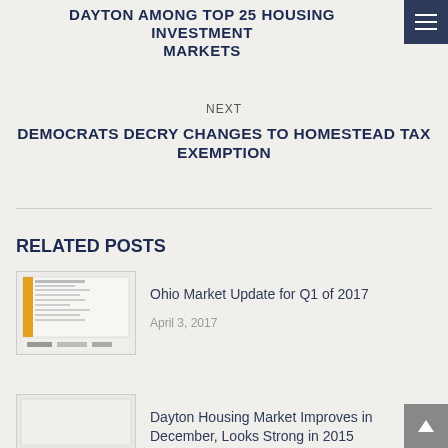DAYTON AMONG TOP 25 HOUSING INVESTMENT MARKETS
NEXT
DEMOCRATS DECRY CHANGES TO HOMESTEAD TAX EXEMPTION
RELATED POSTS
[Figure (photo): Thumbnail image of a document page for Ohio Market Update for Q1 of 2017]
Ohio Market Update for Q1 of 2017
April 3, 2017
[Figure (photo): Thumbnail image for Dayton Housing Market Improves in December, Looks Strong in 2015]
Dayton Housing Market Improves in December, Looks Strong in 2015